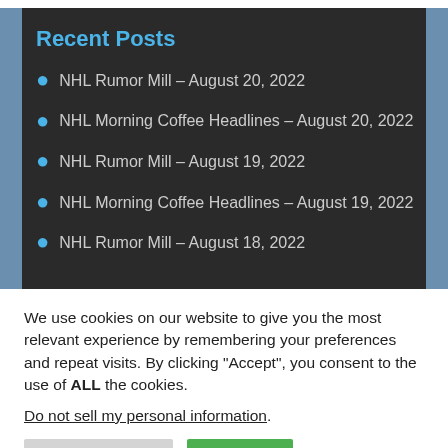Recent Posts
NHL Rumor Mill – August 20, 2022
NHL Morning Coffee Headlines – August 20, 2022
NHL Rumor Mill – August 19, 2022
NHL Morning Coffee Headlines – August 19, 2022
NHL Rumor Mill – August 18, 2022
We use cookies on our website to give you the most relevant experience by remembering your preferences and repeat visits. By clicking “Accept”, you consent to the use of ALL the cookies.
Do not sell my personal information.
Cookie Settings | Accept